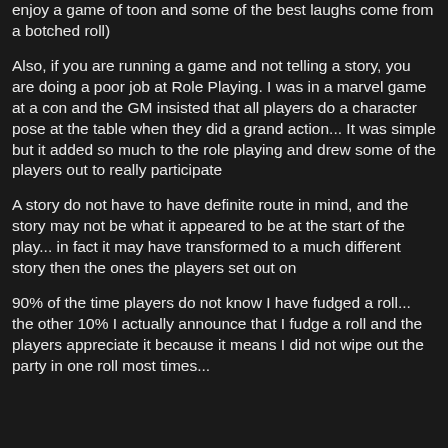enjoy a game of toon and some of the best laughs come from a botched roll)
Also, if you are running a game and not telling a story, you are doing a poor job at Role Playing. I was in a marvel game at a con and the GM insisted that all players do a character pose at the table when they did a grand action... It was simple but it added so much to the role playing and drew some of the players out to really participate
A story do not have to have definite route in mind, and the story may not be what it appeared to be at the start of the play... in fact it may have transformed to a much different story then the ones the players set out on
90% of the time players do not know I have fudged a roll... the other 10% I actually announce that I fudge a roll and the players appreciate it because it means I did not wipe out the party in one roll most times...